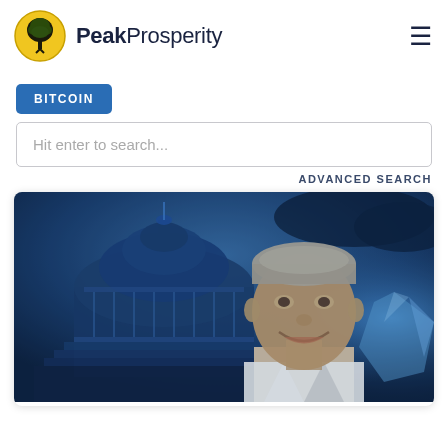[Figure (logo): Peak Prosperity logo: circular yellow/black tree icon with 'Peak' bold and 'Prosperity' regular text in dark navy]
[Figure (other): Hamburger menu icon (three horizontal lines) in top right corner]
BITCOIN
Hit enter to search...
ADVANCED SEARCH
[Figure (photo): An elderly man smiling in front of a blue-tinted US Capitol building background, with a glowing digital/crystal element on the right side. Blue monochrome atmospheric scene.]